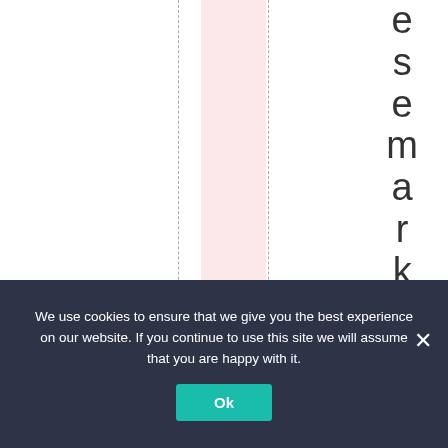[Figure (other): Web page layout with dashed vertical grid lines, a pink highlighted column, and vertical text reading 'esmarketgardens.' displayed letter by letter top to bottom on the right side]
We use cookies to ensure that we give you the best experience on our website. If you continue to use this site we will assume that you are happy with it.
Ok